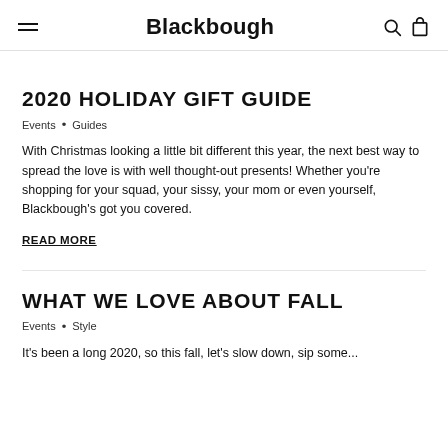Blackbough
2020 HOLIDAY GIFT GUIDE
Events • Guides
With Christmas looking a little bit different this year, the next best way to spread the love is with well thought-out presents! Whether you're shopping for your squad, your sissy, your mom or even yourself, Blackbough's got you covered.
READ MORE
WHAT WE LOVE ABOUT FALL
Events • Style
It's been a long 2020, so this fall, let's slow down, sip some...